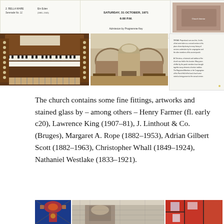[Figure (photo): Concert program or document snippet showing printed text, top left]
[Figure (photo): Concert program showing 'SATURDAY, 31 OCTOBER, 1971 6.00 P.M.' and 'Admission by Programme Key']
[Figure (photo): Document snippet top right, small printed text]
[Figure (photo): Photo of a large pipe organ console with multiple keyboards and many stop knobs]
[Figure (photo): Photo of church interior showing arched nave and altar area]
[Figure (photo): Document snippet with small printed text on right side]
The church contains some fine fittings, artworks and stained glass by – among others – Henry Farmer (fl. early c20), Lawrence King (1907–81), J. Linthout & Co. (Bruges), Margaret A. Rope (1882–1953), Adrian Gilbert Scott (1882–1963), Christopher Whall (1849–1924),  Nathaniel Westlake (1833–1921).
[Figure (photo): Three photos at the bottom: stained glass window with blue/red colors, exterior church stonework, and stained glass with red/blue abstract pattern]